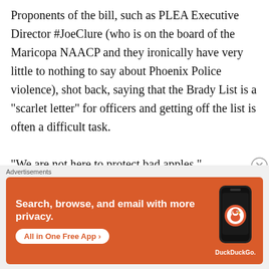Proponents of the bill, such as PLEA Executive Director #JoeClure (who is on the board of the Maricopa NAACP and they ironically have very little to nothing to say about Phoenix Police violence), shot back, saying that the Brady List is a "scarlet letter" for officers and getting off the list is often a difficult task.

"We are not here to protect bad apples,"
[Figure (other): DuckDuckGo advertisement banner with orange background. Text reads: 'Search, browse, and email with more privacy. All in One Free App' with a phone showing the DuckDuckGo app.]